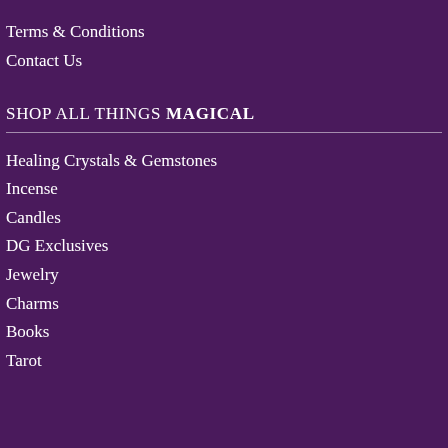Terms & Conditions
Contact Us
SHOP ALL THINGS MAGICAL
Healing Crystals & Gemstones
Incense
Candles
DG Exclusives
Jewelry
Charms
Books
Tarot